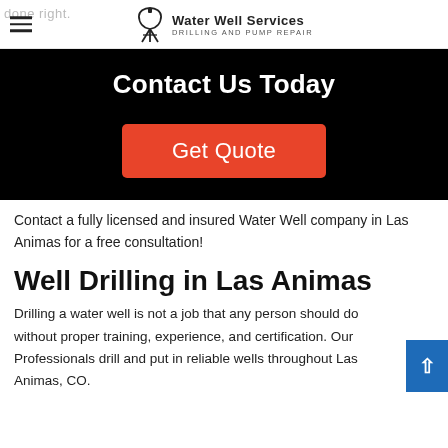Water Well Services – Drilling and Pump Repair
[Figure (other): Black hero banner with 'Contact Us Today' heading and a red 'Get Quote' button]
Contact a fully licensed and insured Water Well company in Las Animas for a free consultation!
Well Drilling in Las Animas
Drilling a water well is not a job that any person should do without proper training, experience, and certification. Our Professionals drill and put in reliable wells throughout Las Animas, CO.